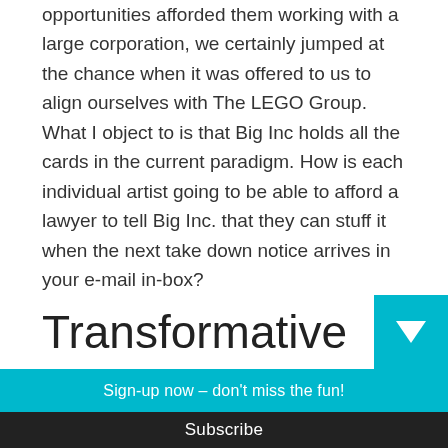opportunities afforded them working with a large corporation, we certainly jumped at the chance when it was offered to us to align ourselves with The LEGO Group. What I object to is that Big Inc holds all the cards in the current paradigm. How is each individual artist going to be able to afford a lawyer to tell Big Inc. that they can stuff it when the next take down notice arrives in your e-mail in-box?
Transformative
Sign-up now – don't miss the fun!
Your email address..
Subscribe